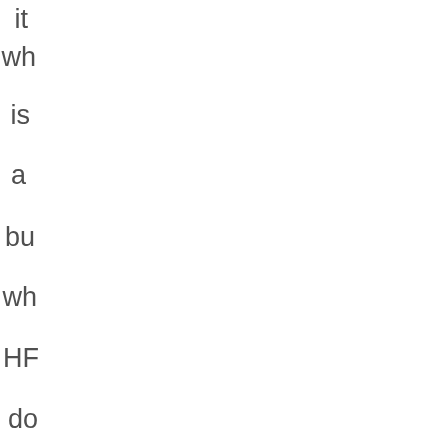it
wh
is
a
bu
wh
HF
do
no
co
Bu
lo
at
the
ot
big
PC
ma